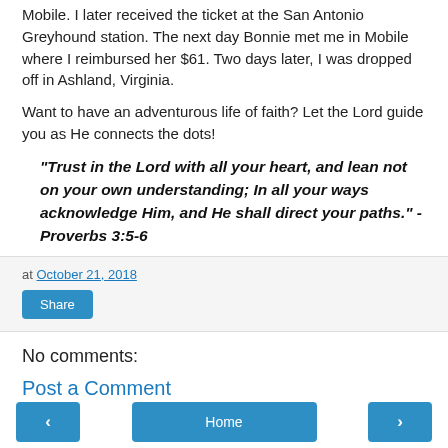Mobile. I later received the ticket at the San Antonio Greyhound station. The next day Bonnie met me in Mobile where I reimbursed her $61. Two days later, I was dropped off in Ashland, Virginia.
Want to have an adventurous life of faith? Let the Lord guide you as He connects the dots!
“Trust in the Lord with all your heart, and lean not on your own understanding; In all your ways acknowledge Him, and He shall direct your paths.” - Proverbs 3:5-6
at October 21, 2018
Share
No comments:
Post a Comment
‹  Home  ›